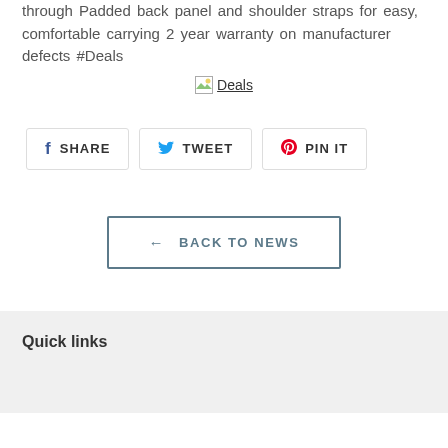through Padded back panel and shoulder straps for easy, comfortable carrying 2 year warranty on manufacturer defects #Deals
[Figure (illustration): Broken/placeholder image icon with alt text 'Deals', displayed as a linked image with underline]
SHARE   TWEET   PIN IT
← BACK TO NEWS
Quick links